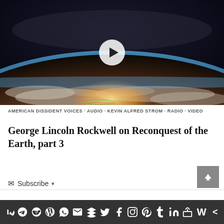[Figure (screenshot): Video thumbnail showing Earth from space with a play button overlay. The image shows the curvature of the Earth with clouds, a blue atmosphere line, and dark space above. A white circular play button is centered on the image.]
AMERICAN DISSIDENT VOICES · AUDIO · KEVIN ALFRED STROM · RADIO · VIDEO
George Lincoln Rockwell on Reconquest of the Earth, part 3
Subscribe
[Figure (infographic): Social media sharing bar with icons for VK, Telegram, Reddit, WordPress, WhatsApp, Email, Buffer, Twitter, Facebook, Instagram, Pinterest, Tumblr, LinkedIn, Gift/Share, Webtoon, and a share icon on a dark gray background.]